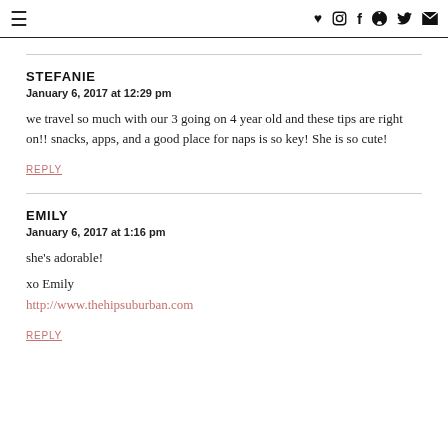≡  ♥  Instagram  f  Pinterest  Twitter  Email
STEFANIE
January 6, 2017 at 12:29 pm

we travel so much with our 3 going on 4 year old and these tips are right on!! snacks, apps, and a good place for naps is so key! She is so cute!

REPLY
EMILY
January 6, 2017 at 1:16 pm

she's adorable!

xo Emily
http://www.thehipsuburban.com

REPLY